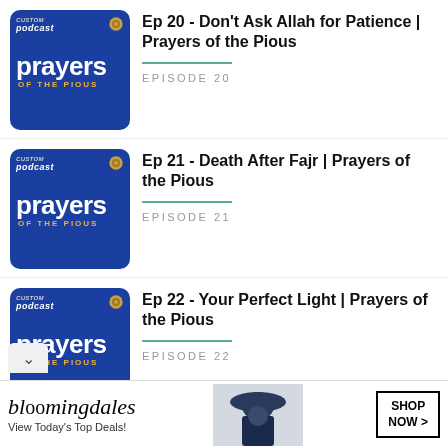Ep 20 - Don't Ask Allah for Patience | Prayers of the Pious — EPISODE 20
Ep 21 - Death After Fajr | Prayers of the Pious — EPISODE 21
Ep 22 - Your Perfect Light | Prayers of the Pious — EPISODE 22
[Figure (screenshot): Bloomingdales advertisement banner: bloomingdales logo, 'View Today's Top Deals!', image of woman in hat, SHOP NOW button]